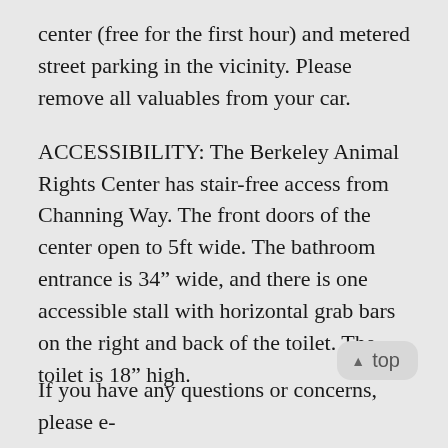center (free for the first hour) and metered street parking in the vicinity. Please remove all valuables from your car.
ACCESSIBILITY: The Berkeley Animal Rights Center has stair-free access from Channing Way. The front doors of the center open to 5ft wide. The bathroom entrance is 34” wide, and there is one accessible stall with horizontal grab bars on the right and back of the toilet. The toilet is 18” high.
If you have any questions or concerns, please e-